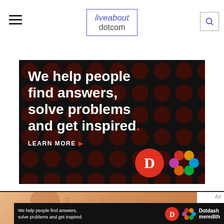liveabout dotcom
[Figure (infographic): Dotdash Meredith advertisement banner on black background with dark red dot pattern. Text reads: We help people find answers, solve problems and get inspired. LEARN MORE. Logos: Dotdash D and Meredith colored flower/knot logo.]
[Figure (photo): Bottom portion of page showing a partial photo of a person and a smaller Dotdash Meredith advertisement bar at the bottom reading: We help people find answers, solve problems and get inspired. with Dotdash and Meredith logos. Ad label visible at top right.]